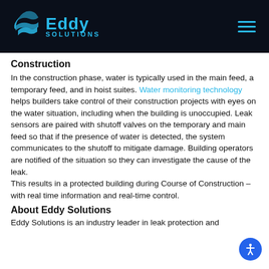[Figure (logo): Eddy Solutions logo with blue water drop icon and company name on dark background with hamburger menu icon]
Construction
In the construction phase, water is typically used in the main feed, a temporary feed, and in hoist suites. Water monitoring technology helps builders take control of their construction projects with eyes on the water situation, including when the building is unoccupied. Leak sensors are paired with shutoff valves on the temporary and main feed so that if the presence of water is detected, the system communicates to the shutoff to mitigate damage. Building operators are notified of the situation so they can investigate the cause of the leak.
This results in a protected building during Course of Construction – with real time information and real-time control.
About Eddy Solutions
Eddy Solutions is an industry leader in leak protection and